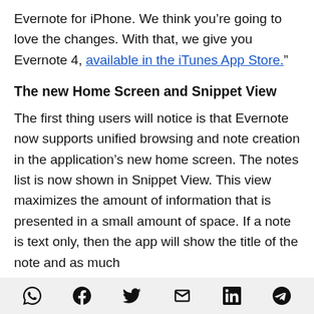Evernote for iPhone. We think you're going to love the changes. With that, we give you Evernote 4, available in the iTunes App Store.”
The new Home Screen and Snippet View
The first thing users will notice is that Evernote now supports unified browsing and note creation in the application’s new home screen. The notes list is now shown in Snippet View. This view maximizes the amount of information that is presented in a small amount of space. If a note is text only, then the app will show the title of the note and as much
Share icons: WhatsApp, Facebook, Twitter, Email, LinkedIn, Telegram